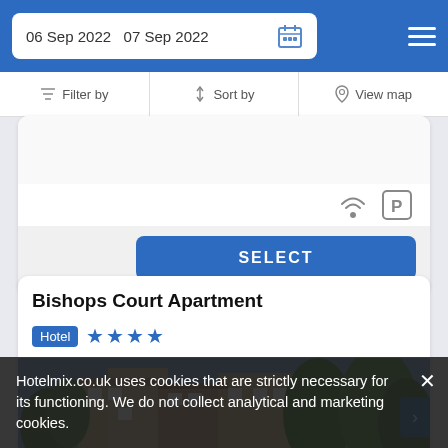06 Sep 2022  07 Sep 2022
Filter by  Sort by  View map
[Figure (screenshot): Amenity icons: wifi and parking]
SELECT
Bishops Court Apartment
Hotel ★★★★
[Figure (photo): Exterior photo of Bishops Court Apartment showing a brick building with trees]
Hotelmix.co.uk uses cookies that are strictly necessary for its functioning. We do not collect analytical and marketing cookies.